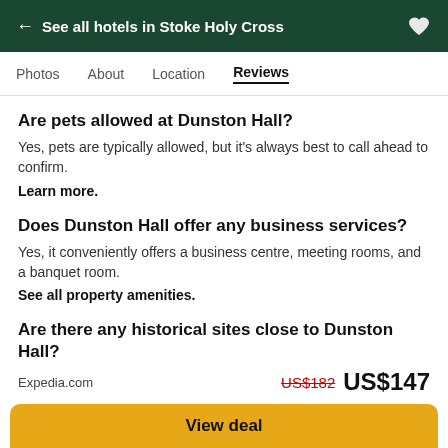← See all hotels in Stoke Holy Cross
Photos  About  Location  Reviews
Are pets allowed at Dunston Hall?
Yes, pets are typically allowed, but it's always best to call ahead to confirm.
Learn more.
Does Dunston Hall offer any business services?
Yes, it conveniently offers a business centre, meeting rooms, and a banquet room.
See all property amenities.
Are there any historical sites close to Dunston Hall?
Expedia.com  US$182  US$147
View deal